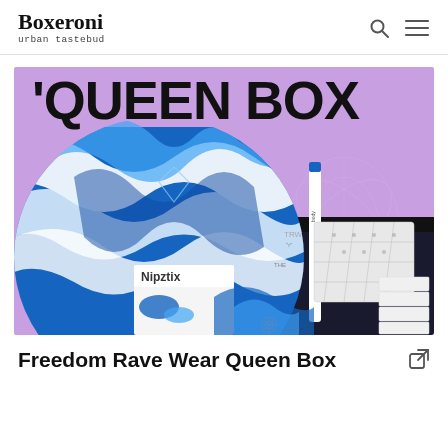Boxeroni urban tastebud
[Figure (photo): Freedom Rave Wear Queen Box product image showing a purple background with 'QUEEN BOX' text, blue and white swirled fabric, various accessories including Nipztix products, white quilted box, and blue/white folded items arranged inside a black subscription box.]
Freedom Rave Wear Queen Box